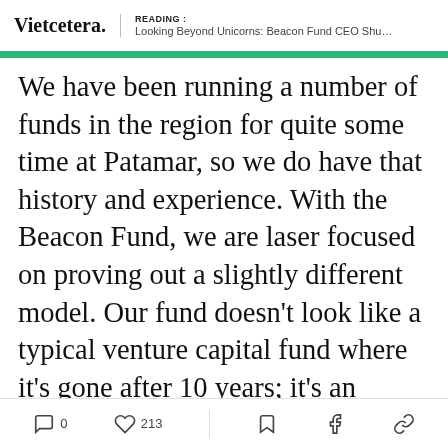Vietcetera. | READING : Looking Beyond Unicorns: Beacon Fund CEO Shuyin...
We have been running a number of funds in the region for quite some time at Patamar, so we do have that history and experience. With the Beacon Fund, we are laser focused on proving out a slightly different model. Our fund doesn’t look like a typical venture capital fund where it’s gone after 10 years; it’s an evergreen fund, which means we’re here… well forever! Why limit ourselves to this artificial 10-year timeframe, when there’s so much more to be done? We’re going to keep on building, and
0  213